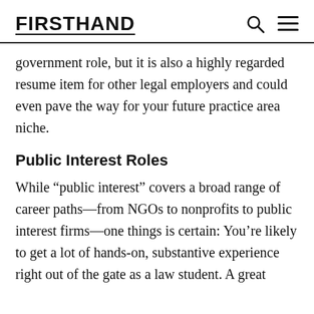FIRSTHAND
government role, but it is also a highly regarded resume item for other legal employers and could even pave the way for your future practice area niche.
Public Interest Roles
While “public interest” covers a broad range of career paths—from NGOs to nonprofits to public interest firms—one things is certain: You’re likely to get a lot of hands-on, substantive experience right out of the gate as a law student. A great